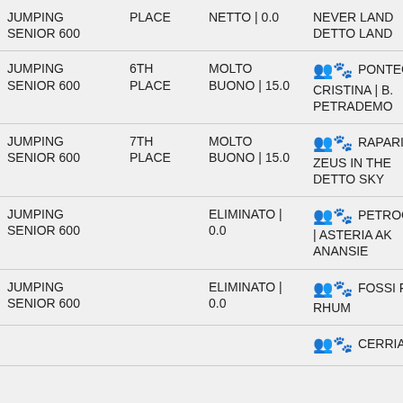| Event | Place | Score | Details |
| --- | --- | --- | --- |
| JUMPING SENIOR 600 | PLACE | NETTO | 0.0 | NEVER LAND DETTO LAND |
| JUMPING SENIOR 600 | 6TH PLACE | MOLTO BUONO | 15.0 | 🧑‍🤝‍🧑🐾 PONTEC CRISTINA | B. PETRADEMO |
| JUMPING SENIOR 600 | 7TH PLACE | MOLTO BUONO | 15.0 | 🧑‍🤝‍🧑🐾 RAPARI ZEUS IN THE DETTO SKY |
| JUMPING SENIOR 600 |  | ELIMINATO | 0.0 | 🧑‍🤝‍🧑🐾 PETRO | ASTERIA AK ANANSIE |
| JUMPING SENIOR 600 |  | ELIMINATO | 0.0 | 🧑‍🤝‍🧑🐾 FOSSI F RHUM |
|  |  |  | 🧑‍🤝‍🧑🐾 CERRI A |